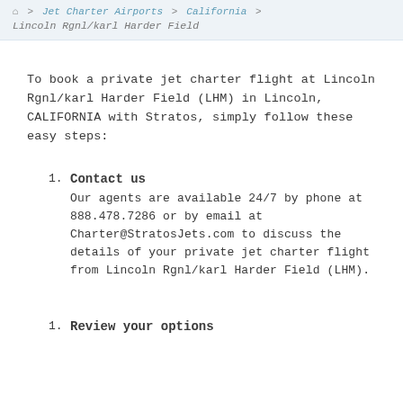Jet Charter Airports > California > Lincoln Rgnl/karl Harder Field
To book a private jet charter flight at Lincoln Rgnl/karl Harder Field (LHM) in Lincoln, CALIFORNIA with Stratos, simply follow these easy steps:
Contact us
Our agents are available 24/7 by phone at 888.478.7286 or by email at Charter@StratosJets.com to discuss the details of your private jet charter flight from Lincoln Rgnl/karl Harder Field (LHM).
Review your options